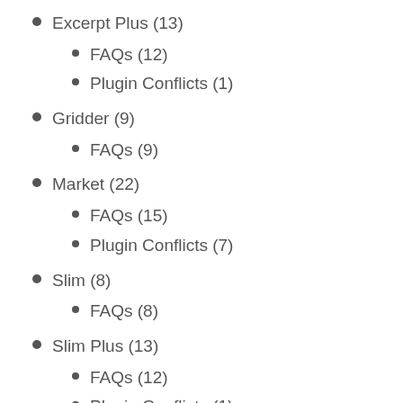Excerpt Plus (13)
FAQs (12)
Plugin Conflicts (1)
Gridder (9)
FAQs (9)
Market (22)
FAQs (15)
Plugin Conflicts (7)
Slim (8)
FAQs (8)
Slim Plus (13)
FAQs (12)
Plugin Conflicts (1)